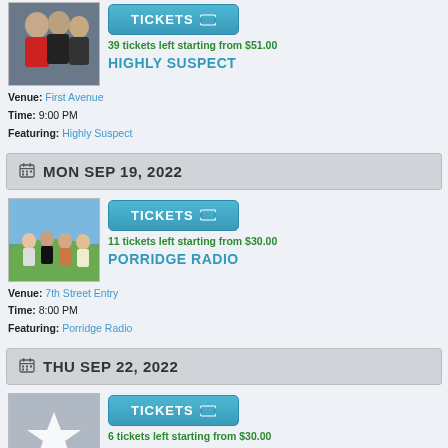[Figure (photo): Band photo showing three men, one in red shirt, one in black jacket]
TICKETS
39 tickets left starting from $51.00
HIGHLY SUSPECT
Venue: First Avenue
Time: 9:00 PM
Featuring: Highly Suspect
MON SEP 19, 2022
[Figure (photo): Band photo showing four people standing outdoors on a hillside]
TICKETS
11 tickets left starting from $30.00
PORRIDGE RADIO
Venue: 7th Street Entry
Time: 8:00 PM
Featuring: Porridge Radio
THU SEP 22, 2022
[Figure (illustration): Placeholder image with white star on grey background]
TICKETS
6 tickets left starting from $30.00
LIVE SKULL
Venue: 7th Street Entry